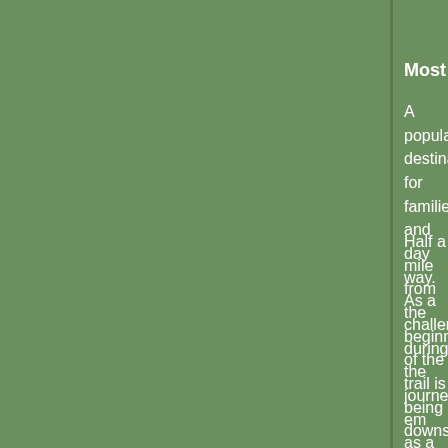Most Kid-Friendly Hike: Ouzel Falls
A popular destination for families and day way. As a challenge during the journey, em as a "dipper")—a species of bird that dives its prey at the bottom.
Half a mile from the beginning of the trail is being downstream from the other. Almost c St. Vrain Creek, offering more falls-sighting Calypso Cascades, the most film-worthy d Cascades are the remains of the lightning- final ascension to Ouzel Falls, you will beg waters. If you haven't already spotted any by these amusing birds.
The Only Tour Guide with Four Legs: A
If hiking is not your forte, consider explorin Roosevelt National Forest by horseback. A